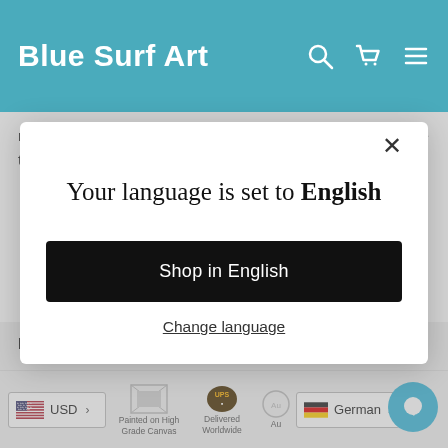Blue Surf Art
masterpiece. In our in-house studio artists carefully recreate the painting detail-by-detail, colour-by-colour
Your language is set to English
Shop in English
Change language
print, they will also last longer.
[Figure (screenshot): Bottom bar with currency selector (USD), trust badges (Painted on High Grade Canvas, Delivered Worldwide, Certified Authentic), language selector (German), and chat bubble icon]